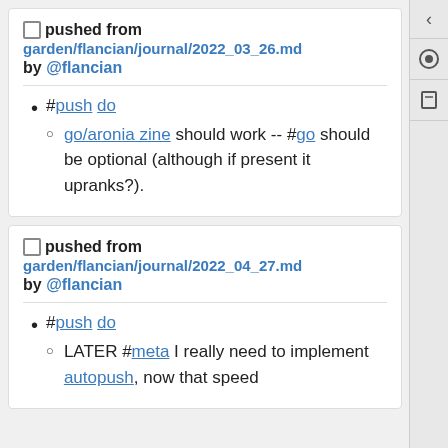pushed from garden/flancian/journal/2022_03_26.md by @flancian
#push do
go/aronia zine should work -- #go should be optional (although if present it upranks?).
pushed from garden/flancian/journal/2022_04_27.md by @flancian
#push do
LATER #meta I really need to implement autopush, now that speed